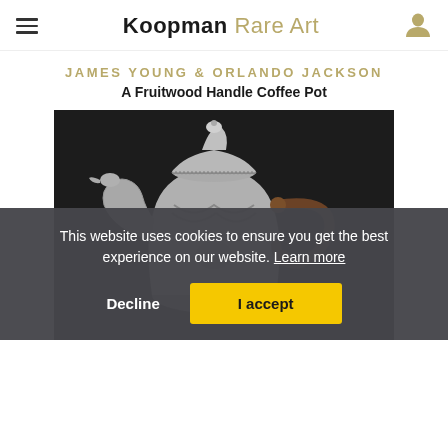Koopman Rare Art
JAMES YOUNG & ORLANDO JACKSON
A Fruitwood Handle Coffee Pot
[Figure (photo): Silver coffee pot with fruitwood handle against dark background, decorated with swag motifs and an ornate spout, shown on a dark studio background.]
This website uses cookies to ensure you get the best experience on our website. Learn more
Decline  I accept